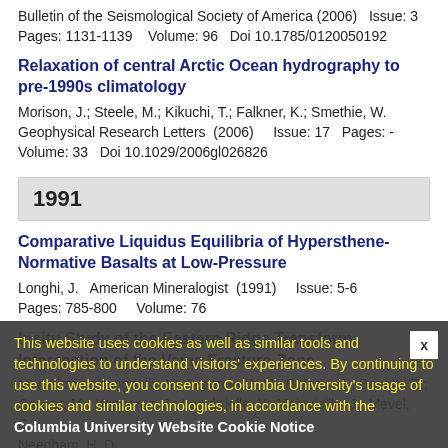Bulletin of the Seismological Society of America (2006)   Issue: 3 Pages: 1131-1139   Volume: 96  Doi 10.1785/0120050192
Relaxation of central Arctic Ocean hydrography to pre-1990s climatology
Morison, J.; Steele, M.; Kikuchi, T.; Falkner, K.; Smethie, W.
Geophysical Research Letters  (2006)    Issue: 17  Pages: -  Volume: 33  Doi 10.1029/2006gl026826
1991
Comparative Liquidus Equilibria of Hypersthene-Normative Basalts at Low-Pressure
Longhi, J.  American Mineralogist  (1991)    Issue: 5-6  Pages: 785-800    Volume: 76
Insitu Study of the Eastern Ridge Transform Intersection of the Vema Fracture-Zone
Mamaloukasfrangoulis, V.; Auzende, J. M.; Bideau, D.; Bonatti, E.; Cannat, M.; Honnorez, J.; Lagabrielle, Y.; Malavieille, J.; Mevel, C.; Needham, H. D.
Tectonophysics  (1991)    Issue: 1  Pages: 55-71   Volume: 190